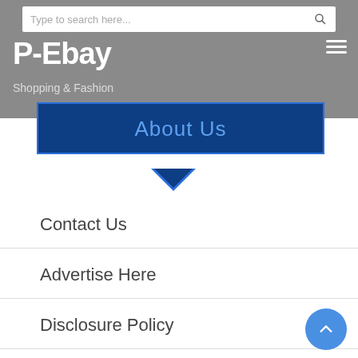P-Ebay — Shopping & Fashion
About Us
Contact Us
Advertise Here
Disclosure Policy
Sitemap